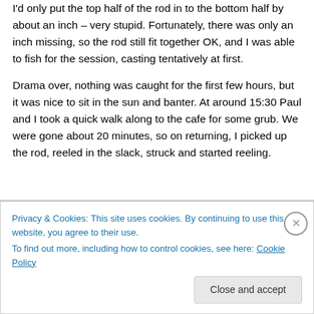I'd only put the top half of the rod in to the bottom half by about an inch – very stupid. Fortunately, there was only an inch missing, so the rod still fit together OK, and I was able to fish for the session, casting tentatively at first.
Drama over, nothing was caught for the first few hours, but it was nice to sit in the sun and banter. At around 15:30 Paul and I took a quick walk along to the cafe for some grub. We were gone about 20 minutes, so on returning, I picked up the rod, reeled in the slack, struck and started reeling.
Privacy & Cookies: This site uses cookies. By continuing to use this website, you agree to their use.
To find out more, including how to control cookies, see here: Cookie Policy